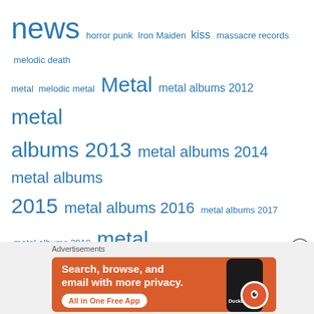[Figure (other): Tag cloud with music and metal genre keywords in varying font sizes, all in blue. Tags include: news, horror punk, Iron Maiden, kiss, massacre records, melodic death metal, melodic metal, Metal, metal albums 2012, metal albums 2013, metal albums 2014, metal albums 2015, metal albums 2016, metal albums 2017, metal albums 2018, metal history, metal music, Metal News, metal odyssey, Misfits, Music, music news, music videos, news, nwobhm, old school heavy metal, Power Metal, progressive metal, progressive rock, Punk rock, rock albums 2012, rock and roll, rock]
[Figure (screenshot): DuckDuckGo advertisement banner with orange background. Text: Search, browse, and email with more privacy. All in One Free App. Shows a phone graphic with DuckDuckGo logo. Labeled Advertisements.]